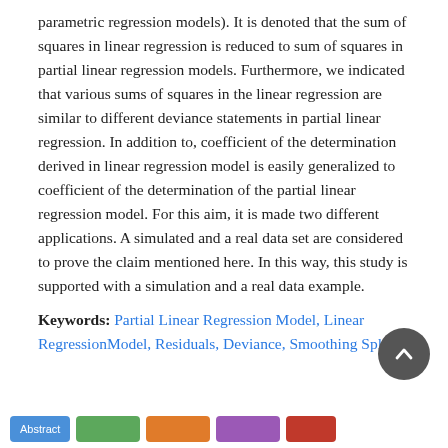parametric regression models). It is denoted that the sum of squares in linear regression is reduced to sum of squares in partial linear regression models. Furthermore, we indicated that various sums of squares in the linear regression are similar to different deviance statements in partial linear regression. In addition to, coefficient of the determination derived in linear regression model is easily generalized to coefficient of the determination of the partial linear regression model. For this aim, it is made two different applications. A simulated and a real data set are considered to prove the claim mentioned here. In this way, this study is supported with a simulation and a real data example.
Keywords: Partial Linear Regression Model, Linear RegressionModel, Residuals, Deviance, Smoothing Spline.